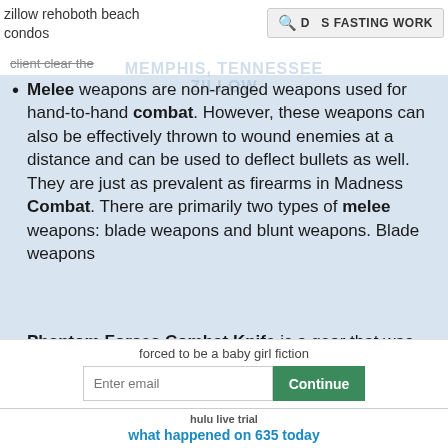zillow rehoboth beach condos
DOES FASTING WORK
client clear the
MEMPHIS, TENNESSEE ZILLOW
Melee weapons are non-ranged weapons used for hand-to-hand combat. However, these weapons can also be effectively thrown to wound enemies at a distance and can be used to deflect bullets as well. They are just as prevalent as firearms in Madness Combat. There are primarily two types of melee weapons: blade weapons and blunt weapons. Blade weapons
Phantom Forces Combat Knife is a gear that was
forced to be a baby girl fiction
Enter email
Continue
hulu live trial
what happened on 635 today